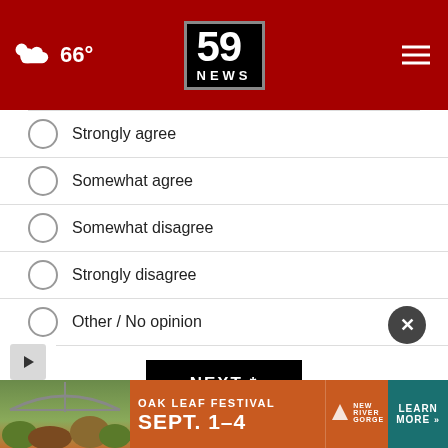66° 59 NEWS
Strongly agree
Somewhat agree
Somewhat disagree
Strongly disagree
Other / No opinion
NEXT *
* By clicking "NEXT" you agree to the following: We use cookies to track your survey answers. If you would like to continue with this survey, please read and agree to the CivicScience Privacy Policy and Terms of Service
TOP S
[Figure (other): Oak Leaf Festival advertisement banner: Sept. 1-4, New River Gorge, Learn More]